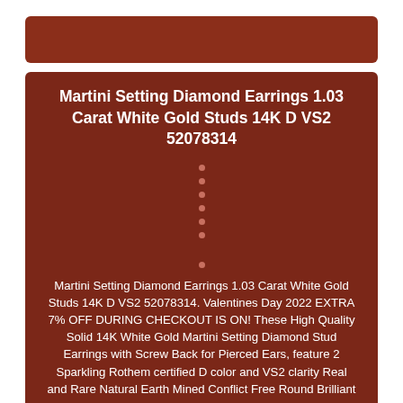Martini Setting Diamond Earrings 1.03 Carat White Gold Studs 14K D VS2 52078314
•
•
•
•
•
•
•
Martini Setting Diamond Earrings 1.03 Carat White Gold Studs 14K D VS2 52078314. Valentines Day 2022 EXTRA 7% OFF DURING CHECKOUT IS ON! These High Quality Solid 14K White Gold Martini Setting Diamond Stud Earrings with Screw Back for Pierced Ears, feature 2 Sparkling Rothem certified D color and VS2 clarity Real and Rare Natural Earth Mined Conflict Free Round Brilliant